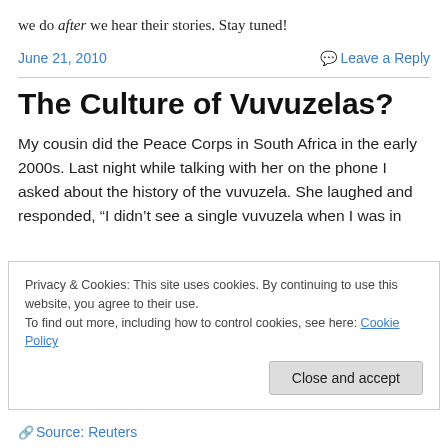we do after we hear their stories. Stay tuned!
June 21, 2010
Leave a Reply
The Culture of Vuvuzelas?
My cousin did the Peace Corps in South Africa in the early 2000s. Last night while talking with her on the phone I asked about the history of the vuvuzela. She laughed and responded, “I didn’t see a single vuvuzela when I was in
Privacy & Cookies: This site uses cookies. By continuing to use this website, you agree to their use.
To find out more, including how to control cookies, see here: Cookie Policy
Close and accept
Source: Reuters